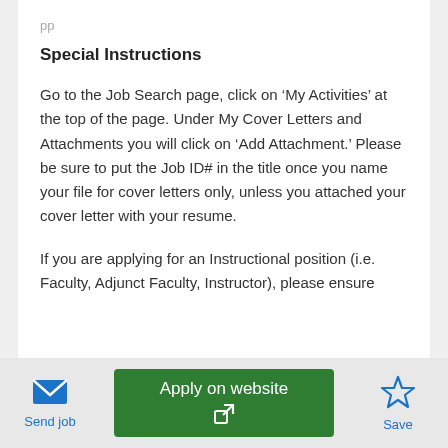Special Instructions
Go to the Job Search page, click on ‘My Activities’ at the top of the page. Under My Cover Letters and Attachments you will click on ‘Add Attachment.’ Please be sure to put the Job ID# in the title once you name your file for cover letters only, unless you attached your cover letter with your resume.
If you are applying for an Instructional position (i.e. Faculty, Adjunct Faculty, Instructor), please ensure
[Figure (other): Send job button with envelope icon]
[Figure (other): Apply on website green button with external link icon]
[Figure (other): Save button with star icon]